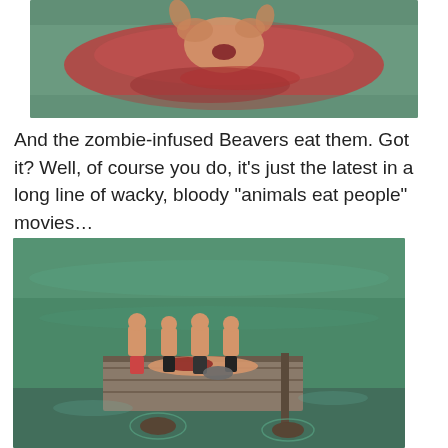[Figure (photo): Movie still showing a person screaming in bloody red water, appearing to be attacked]
And the zombie-infused Beavers eat them. Got it? Well, of course you do, it’s just the latest in a long line of wacky, bloody “animals eat people” movies…
[Figure (photo): Movie still showing four young people standing on a wooden dock platform in a lake, wearing swimwear, with something in the water around them]